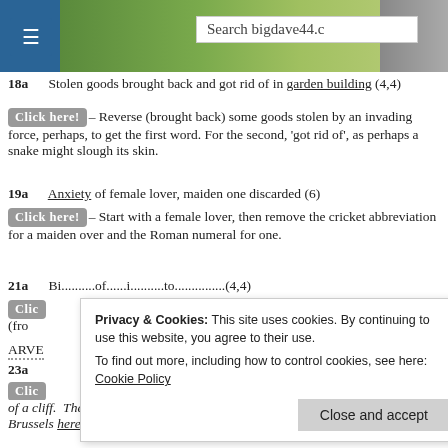[Figure (screenshot): Website header with hamburger menu, countryside photo background, and search box reading 'Search bigdave44.c']
18a   Stolen goods brought back and got rid of in garden building (4,4)
[Click here!]– Reverse (brought back) some goods stolen by an invading force, perhaps, to get the first word. For the second, 'got rid of', as perhaps a snake might slough its skin.
19a   Anxiety of female lover, maiden one discarded (6)
[Click here!]– Start with a female lover, then remove the cricket abbreviation for a maiden over and the Roman numeral for one.
21a   [partially obscured by cookie overlay]
ARVE [dotted underline]
23a   [partially obscured by cookie overlay]
top of a cliff.  There are some cameras following nesting peregrine falcons in Brussels here.
Privacy & Cookies: This site uses cookies. By continuing to use this website, you agree to their use. To find out more, including how to control cookies, see here: Cookie Policy
Close and accept